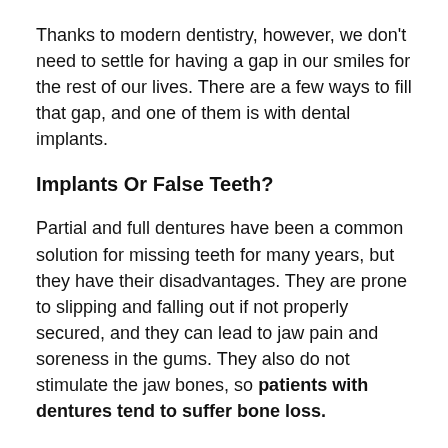Thanks to modern dentistry, however, we don't need to settle for having a gap in our smiles for the rest of our lives. There are a few ways to fill that gap, and one of them is with dental implants.
Implants Or False Teeth?
Partial and full dentures have been a common solution for missing teeth for many years, but they have their disadvantages. They are prone to slipping and falling out if not properly secured, and they can lead to jaw pain and soreness in the gums. They also do not stimulate the jaw bones, so patients with dentures tend to suffer bone loss.
Implants, on the other hand, are metal posts surgically placed in the jawbone under the gums and are basically a new root for a replacement tooth that looks and acts like a natural tooth. The only advantage dentures have over implants is that they are cheaper. It's important to